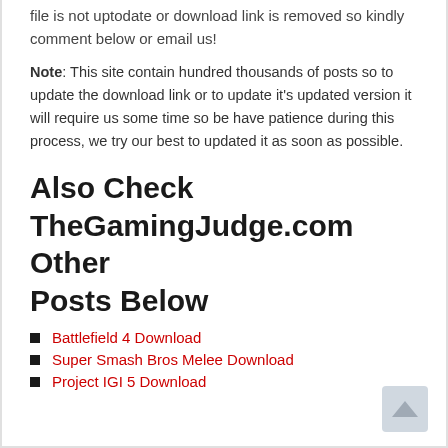file is not uptodate or download link is removed so kindly comment below or email us!
Note: This site contain hundred thousands of posts so to update the download link or to update it's updated version it will require us some time so be have patience during this process, we try our best to updated it as soon as possible.
Also Check TheGamingJudge.com Other Posts Below
Battlefield 4 Download
Super Smash Bros Melee Download
Project IGI 5 Download